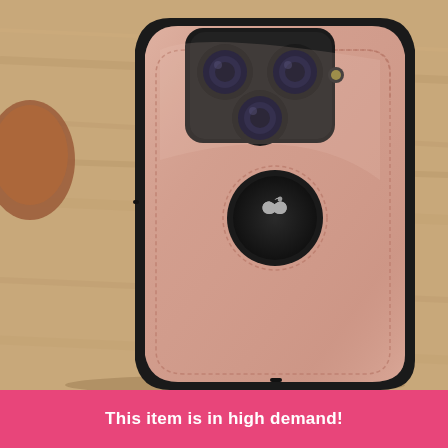[Figure (photo): Product photo of a rose gold / pink leather iPhone case (iPhone 12 Pro style with triple camera cutout) shown at an angle on a wooden surface. The case has stitched edges, an Apple logo cutout window in the center back, and a black inner frame. Background shows a blurred wooden table with decorative objects.]
This item is in high demand!